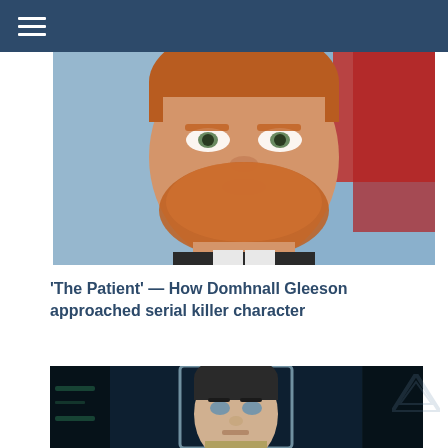☰
[Figure (photo): Close-up photo of a red-haired bearded man (Domhnall Gleeson) with light eyes, in front of a blurred background with red elements]
'The Patient' — How Domhnall Gleeson approached serial killer character
[Figure (photo): Photo of a dark-haired young man in a futuristic/sci-fi setting, appears to be from a Star Trek film]